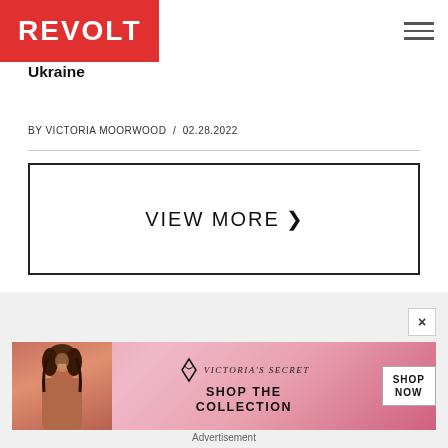REVOLT
Ukraine
BY VICTORIA MOORWOOD / 02.28.2022
VIEW MORE >
[Figure (illustration): Gray content area placeholder]
[Figure (photo): Victoria's Secret advertisement banner with model, VS logo, SHOP THE COLLECTION text, and SHOP NOW button]
Advertisement